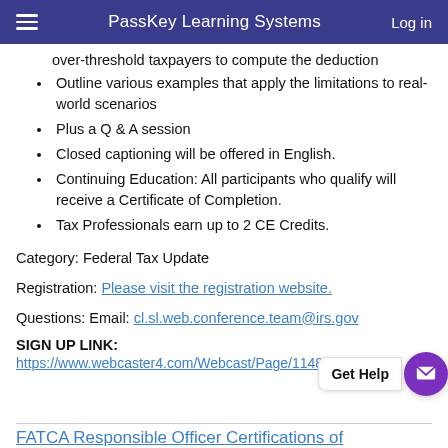PassKey Learning Systems   Log in
over-threshold taxpayers to compute the deduction
Outline various examples that apply the limitations to real-world scenarios
Plus a Q & A session
Closed captioning will be offered in English.
Continuing Education: All participants who qualify will receive a Certificate of Completion.
Tax Professionals earn up to 2 CE Credits.
Category: Federal Tax Update
Registration: Please visit the registration website.
Questions: Email: cl.sl.web.conference.team@irs.gov
SIGN UP LINK:
https://www.webcaster4.com/Webcast/Page/1148/36672
FATCA Responsible Officer Certifications of